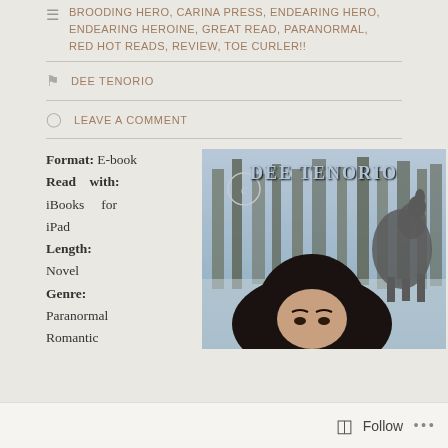BROODING HERO, CARINA PRESS, ENDEARING HERO, ENDEARING HEROINE, GREAT READ, PARANORMAL, RED HOT READS, REVIEW, TOE CURLER!!
DEE TENORIO
LEAVE A COMMENT
Format: E-book
Read with: iBooks for iPad
Length: Novel
Genre: Paranormal Romantic
[Figure (photo): Book cover showing DEE TENORIO as author name over an image of a woman with dark hair and a wolf in a winter forest, with a Carina Press logo]
Follow ...